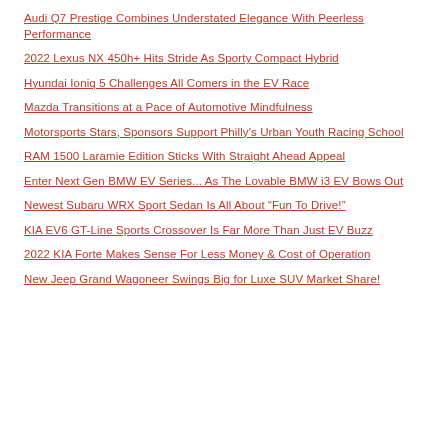Audi Q7 Prestige Combines Understated Elegance With Peerless Performance
2022 Lexus NX 450h+ Hits Stride As Sporty Compact Hybrid
Hyundai Ioniq 5 Challenges All Comers in the EV Race
Mazda Transitions at a Pace of Automotive Mindfulness
Motorsports Stars, Sponsors Support Philly's Urban Youth Racing School
RAM 1500 Laramie Edition Sticks With Straight Ahead Appeal
Enter Next Gen BMW EV Series... As The Lovable BMW i3 EV Bows Out
Newest Subaru WRX Sport Sedan Is All About “Fun To Drive!”
KIA EV6 GT-Line Sports Crossover Is Far More Than Just EV Buzz
2022 KIA Forte Makes Sense For Less Money & Cost of Operation
New Jeep Grand Wagoneer Swings Big for Luxe SUV Market Share!